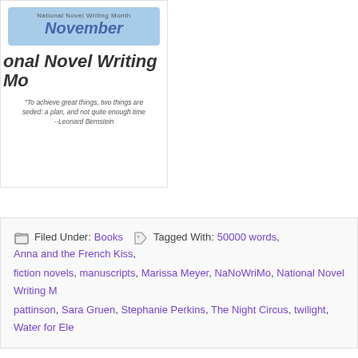[Figure (illustration): Book cover for National Novel Writing Month (NaNoWriMo) featuring a blue banner with 'November', the partial title 'onal Novel Writing Mo', and a quote from Leonard Bernstein: 'To achieve great things, two things are needed: a plan, and not quite enough time']
Filed Under: Books  Tagged With: 50000 words, Anna and the French Kiss, fiction novels, manuscripts, Marissa Meyer, NaNoWriMo, National Novel Writing M..., pattinson, Sara Gruen, Stephanie Perkins, The Night Circus, twilight, Water for Ele...